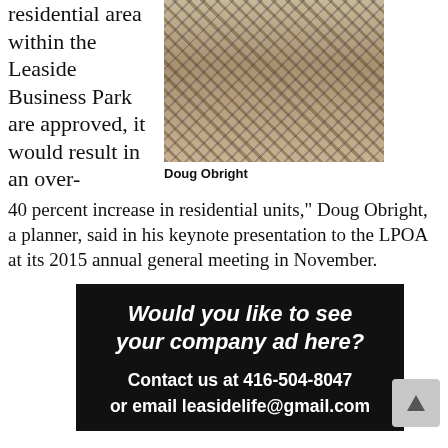residential area within the Leaside Business Park are approved, it would result in an over-40 percent increase in residential units," Doug Obright, a planner, said in his keynote presentation to the LPOA at its 2015 annual general meeting in November.
[Figure (photo): Headshot photo of Doug Obright, a man wearing a plaid/checkered shirt]
Doug Obright
[Figure (infographic): Black advertisement banner reading 'Would you like to see your company ad here? Contact us at 416-504-8047 or email leasidelife@gmail.com']